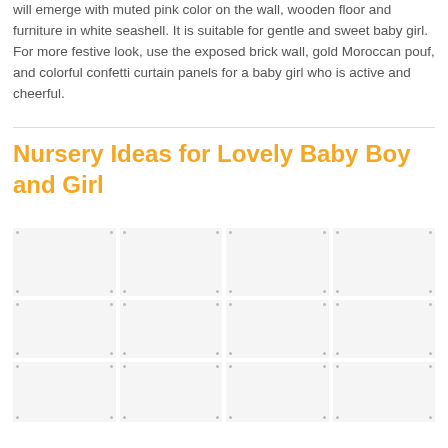will emerge with muted pink color on the wall, wooden floor and furniture in white seashell. It is suitable for gentle and sweet baby girl. For more festive look, use the exposed brick wall, gold Moroccan pouf, and colorful confetti curtain panels for a baby girl who is active and cheerful.
Nursery Ideas for Lovely Baby Boy and Girl
[Figure (photo): Grid of nursery room photos arranged in rows of 4 columns, showing various baby nursery ideas for boys and girls. Photos are partially visible at the bottom of the page.]